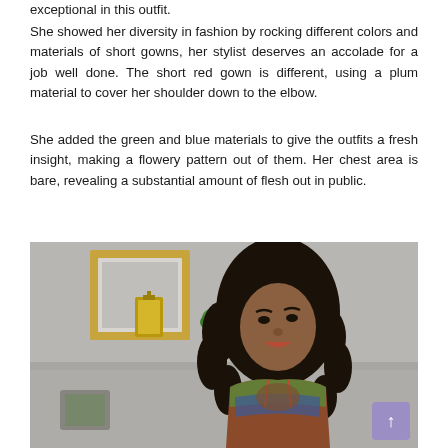exceptional in this outfit.
She showed her diversity in fashion by rocking different colors and materials of short gowns, her stylist deserves an accolade for a job well done. The short red gown is different, using a plum material to cover her shoulder down to the elbow.
She added the green and blue materials to give the outfits a fresh insight, making a flowery pattern out of them. Her chest area is bare, revealing a substantial amount of flesh out in public.
[Figure (photo): A woman with long black curly hair wearing a colorful off-shoulder outfit, posed in front of a shelf with a gold lantern and small plant. A purple scroll-to-top button is visible in the bottom right corner.]